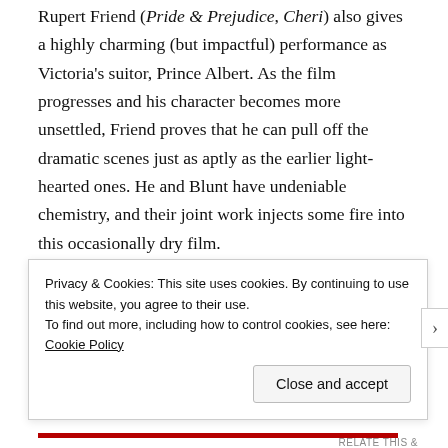Rupert Friend (Pride & Prejudice, Cheri) also gives a highly charming (but impactful) performance as Victoria's suitor, Prince Albert. As the film progresses and his character becomes more unsettled, Friend proves that he can pull off the dramatic scenes just as aptly as the earlier light-hearted ones. He and Blunt have undeniable chemistry, and their joint work injects some fire into this occasionally dry film.
While The Young Victoria offers breathtaking costuming, a lovely score, and a visually impressive representation of life as a British monarch, it lacks the quality of storytelling and
Privacy & Cookies: This site uses cookies. By continuing to use this website, you agree to their use.
To find out more, including how to control cookies, see here: Cookie Policy